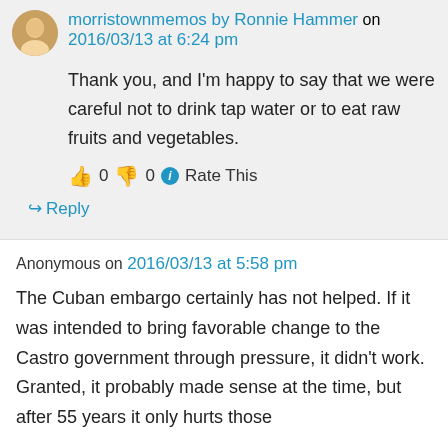morristownmemos by Ronnie Hammer on 2016/03/13 at 6:24 pm
Thank you, and I'm happy to say that we were careful not to drink tap water or to eat raw fruits and vegetables.
👍 0 👎 0 ℹ Rate This
↪ Reply
Anonymous on 2016/03/13 at 5:58 pm
The Cuban embargo certainly has not helped. If it was intended to bring favorable change to the Castro government through pressure, it didn't work. Granted, it probably made sense at the time, but after 55 years it only hurts those